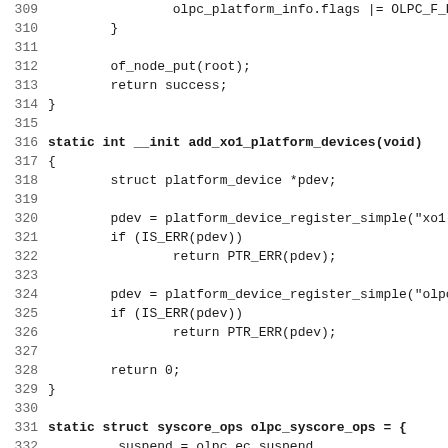Source code listing, lines 309-341, C kernel code for OLPC platform initialization